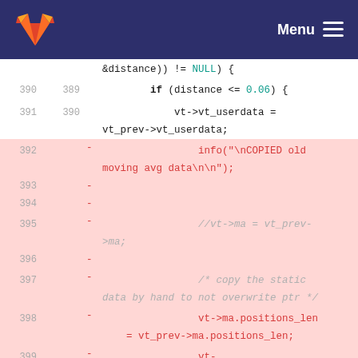GitLab — Menu
Code diff showing deleted lines 392-401 in a C source file. Lines shown include: &distance)) != NULL) {, if (distance <= 0.06) {, vt->vt_userdata = vt_prev->vt_userdata;, and deleted lines: info("\nCOPIED old moving avg data\n\n");, //vt->ma = vt_prev->ma;, /* copy the static data by hand to not overwrite ptr */, vt->ma.positions_len = vt_prev->ma.positions_len;, vt->ma.number_valid_positions =, vt_prev->ma.number_valid_positions;, vt->ma.oldest_index